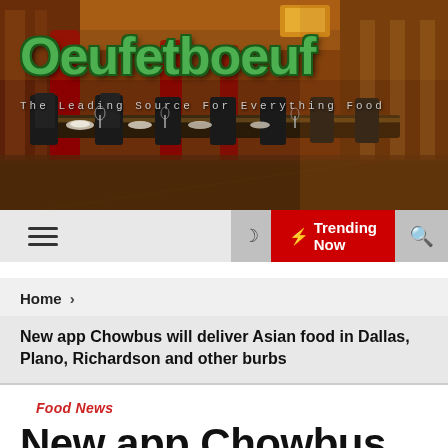[Figure (photo): Restaurant interior with long dining table set with plates, glasses and dark wood chairs, warm amber lighting, bookshelves and columns in background. Site logo 'Oeufetboeuf' in green text with tagline 'The Leading Source For Everything Food' overlaid on the image.]
Oeufetboeuf — The Leading Source For Everything Food
≡  ☽  ⚡ Trending Now  🔍
Home ›
New app Chowbus will deliver Asian food in Dallas, Plano, Richardson and other burbs
Food News
New app Chowbus will